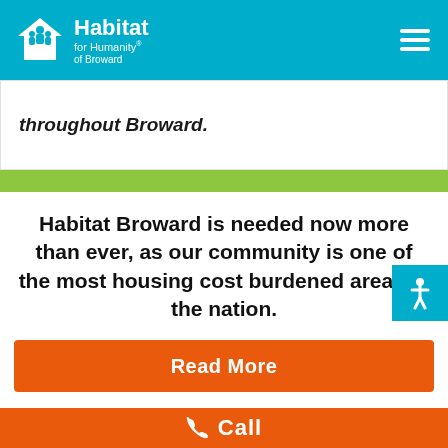Habitat for Humanity of Broward
throughout Broward.
Habitat Broward is needed now more than ever, as our community is one of the most housing cost burdened areas in the nation.
Read More
Call